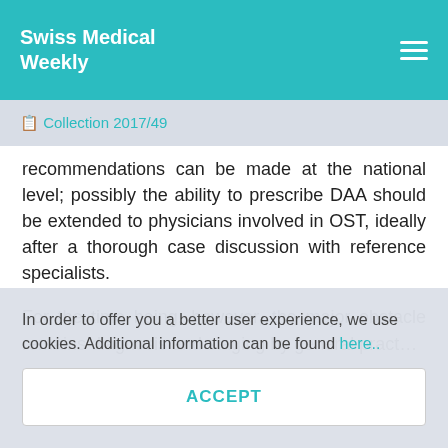Swiss Medical Weekly
📋 Collection 2017/49
recommendations can be made at the national level; possibly the ability to prescribe DAA should be extended to physicians involved in OST, ideally after a thorough case discussion with reference specialists.

For the time being, however, the major obstacle remains diagnosis and staging by general pract…
In order to offer you a better user experience, we use cookies. Additional information can be found here..
ACCEPT